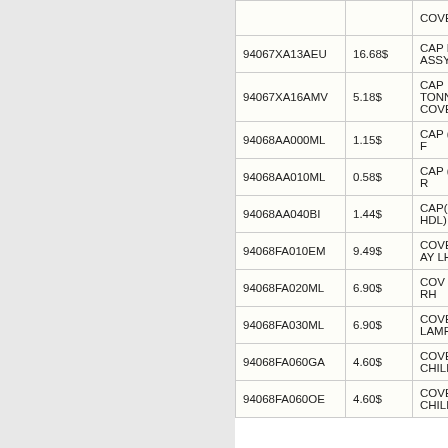| Part Number | Price | Description |
| --- | --- | --- |
|  |  | COVER... |
| 94067XA13AEU | 16.68$ | CAP R SU ASSY LH |
| 94067XA16AMV | 5.18$ | CAP TONNEAU COVER |
| 94068AA000ML | 1.15$ | CAP (DOO F |
| 94068AA010ML | 0.58$ | CAP (DOO R |
| 94068AA040BI | 1.44$ | CAP(PUL HDL) R |
| 94068FA010EM | 9.49$ | COVER S AY LH |
| 94068FA020ML | 6.90$ | COV LAM RH |
| 94068FA030ML | 6.90$ | COVER LAMP LH |
| 94068FA060GA | 4.60$ | COVER CHILD |
| 94068FA060OE | 4.60$ | COVER CHILD |